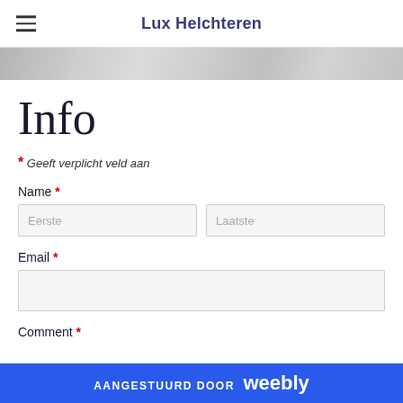Lux Helchteren
[Figure (photo): Hero image strip showing partial view of documents or papers]
Info
* Geeft verplicht veld aan
Name *
Eerste  Laatste
Email *
Comment *
AANGESTUURD DOOR weebly